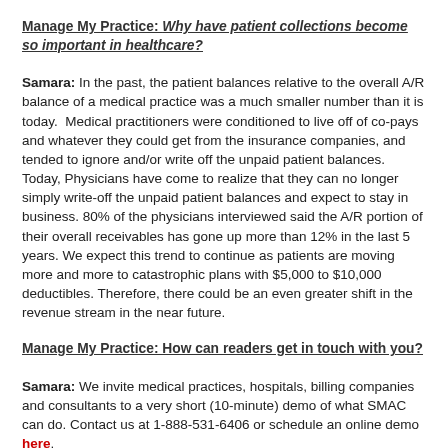Manage My Practice: Why have patient collections become so important in healthcare?
Samara: In the past, the patient balances relative to the overall A/R balance of a medical practice was a much smaller number than it is today.  Medical practitioners were conditioned to live off of co-pays and whatever they could get from the insurance companies, and tended to ignore and/or write off the unpaid patient balances. Today, Physicians have come to realize that they can no longer simply write-off the unpaid patient balances and expect to stay in business. 80% of the physicians interviewed said the A/R portion of their overall receivables has gone up more than 12% in the last 5 years. We expect this trend to continue as patients are moving more and more to catastrophic plans with $5,000 to $10,000 deductibles. Therefore, there could be an even greater shift in the revenue stream in the near future.
Manage My Practice: How can readers get in touch with you?
Samara: We invite medical practices, hospitals, billing companies and consultants to a very short (10-minute) demo of what SMAC can do. Contact us at 1-888-531-6406 or schedule an online demo here.